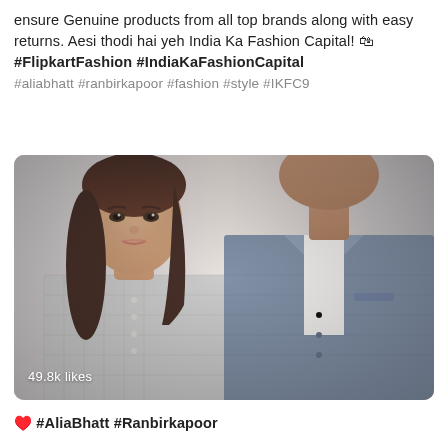ensure Genuine products from all top brands along with easy returns. Aesi thodi hai yeh India Ka Fashion Capital! 🛍 #FlipkartFashion #IndiaKaFashionCapital #aliabhatt #ranbirkapoor #fashion #style #IKFC9
[Figure (photo): A woman with long brown hair wearing a grey checkered top and a man in a denim jacket over a white t-shirt. The photo has 49.8k likes shown in the bottom-left corner.]
♥️ #AliaBhatt #Ranbirkapoor